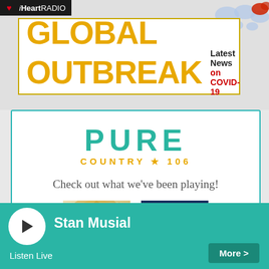[Figure (logo): iHeartRadio logo in black bar top left]
[Figure (infographic): Global Outbreak banner with yellow text GLOBAL OUTBREAK and Latest News on COVID-19 in red, with world map graphic]
[Figure (logo): Pure Country 106 logo in teal and gold]
Check out what we've been playing!
[Figure (photo): Taylor Swift album cover - woman with flowing blonde hair]
[Figure (photo): Country Heat album cover - group of country artists]
Stan Musial
Listen Live
More >